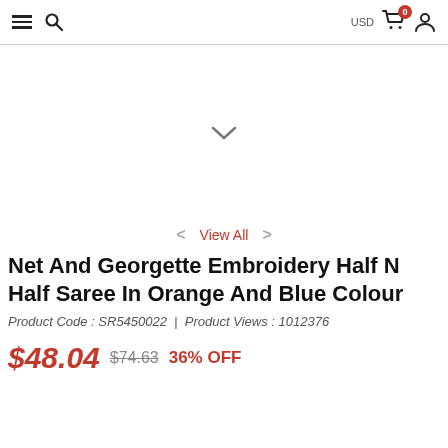≡  🔍   USD  🛒 0  👤
[Figure (other): Blank white product image area with a small downward chevron in the center]
< View All >
Net And Georgette Embroidery Half N Half Saree In Orange And Blue Colour
Product Code : SR5450022  |  Product Views : 1012376
$48.04  $74.63  36% OFF